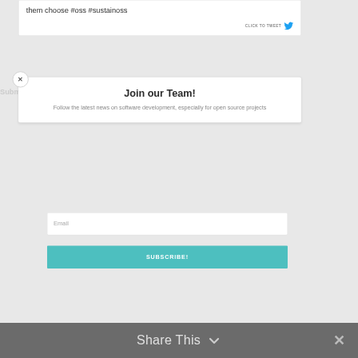them choose #oss #sustainoss
CLICK TO TWEET
Join our Team!
Follow the latest news on software development, especially for open source projects
Email
SUBSCRIBE!
Share This  ×